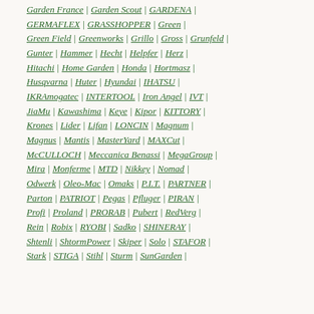Garden France | Garden Scout | GARDENA |
GERMAFLEX | GRASSHOPPER | Green |
Green Field | Greenworks | Grillo | Gross | Grunfeld |
Gunter | Hammer | Hecht | Helpfer | Herz |
Hitachi | Home Garden | Honda | Hortmasz |
Husqvarna | Huter | Hyundai | IHATSU |
IKRAmogatec | INTERTOOL | Iron Angel | IVT |
JiaMu | Kawashima | Keye | Kipor | KITTORY |
Krones | Lider | Lifan | LONCIN | Magnum |
Magnus | Mantis | MasterYard | MAXCut |
McCULLOCH | Meccanica Benassi | MegaGroup |
Mira | Monferme | MTD | Nikkey | Nomad |
Odwerk | Oleo-Mac | Omaks | P.I.T. | PARTNER |
Parton | PATRIOT | Pegas | Pfluger | PIRAN |
Profi | Proland | PRORAB | Pubert | RedVerg |
Rein | Robix | RYOBI | Sadko | SHINERAY |
Shtenli | ShtormPower | Skiper | Solo | STAFOR |
Stark | STIGA | Stihl | Sturm | SunGarden |